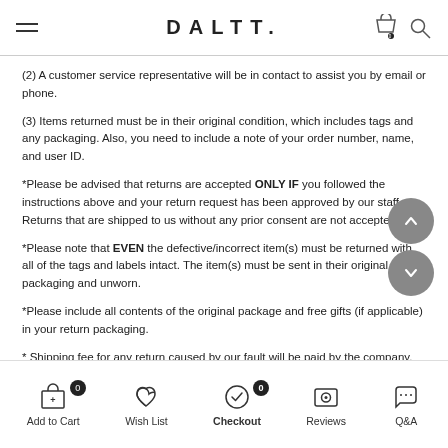DALTT.
(2) A customer service representative will be in contact to assist you by email or phone.
(3) Items returned must be in their original condition, which includes tags and any packaging. Also, you need to include a note of your order number, name, and user ID.
*Please be advised that returns are accepted ONLY IF you followed the instructions above and your return request has been approved by our staff. Returns that are shipped to us without any prior consent are not accepted.
*Please note that EVEN the defective/incorrect item(s) must be returned with all of the tags and labels intact. The item(s) must be sent in their original packaging and unworn.
*Please include all contents of the original package and free gifts (if applicable) in your return packaging.
* Shipping fee for any return caused by our fault will be paid by the company. However, if EMS' cash on delivery is not possible then you can scan the return
Add to Cart  Wish List  Checkout  Reviews  Q&A